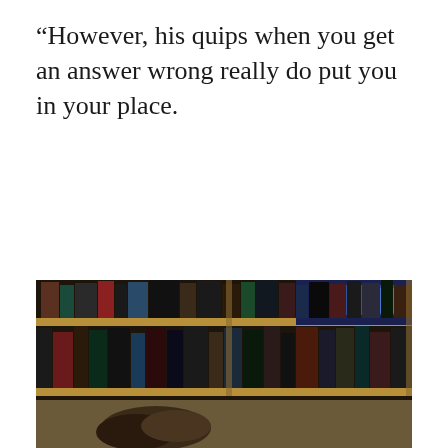“However, his quips when you get an answer wrong really do put you in your place.
[Figure (photo): A low-angle photograph of library bookshelves filled with books of various colors, with a person's head (dark hair) visible resting on or near the bottom shelf, and blue lighting visible in the background.]